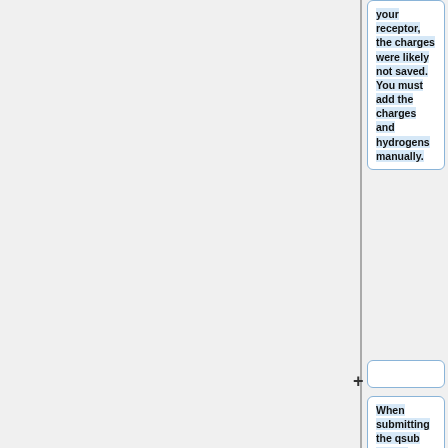your receptor, the charges were likely not saved. You must add the charges and hydrogens manually.
When submitting the qsub script, make sure that there are no spaces after the " \ " on the mpirun line - the job will not run in parallel if there are spaces after the backslash.